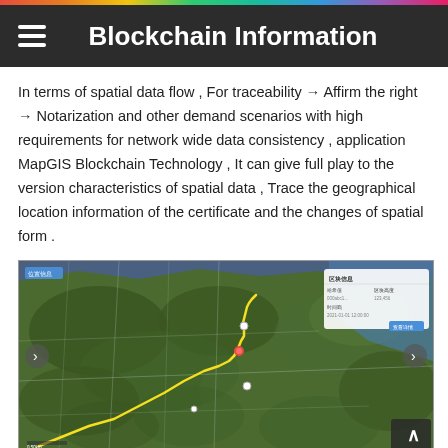Blockchain Information
In terms of spatial data flow , For traceability → Affirm the right → Notarization and other demand scenarios with high requirements for network wide data consistency , application MapGIS Blockchain Technology , It can give full play to the version characteristics of spatial data , Trace the geographical location information of the certificate and the changes of spatial form .
[Figure (map): Satellite map view of China showing geographical regions with a yellow route path traced across the map, along with a data panel overlay in the upper right corner.]